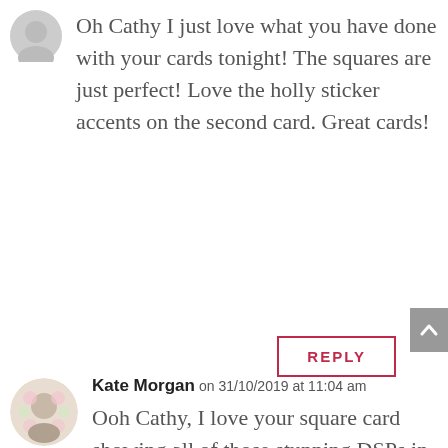Oh Cathy I just love what you have done with your cards tonight! The squares are just perfect! Love the holly sticker accents on the second card. Great cards!
REPLY
Kate Morgan on 31/10/2019 at 11:04 am
Ooh Cathy, I love your square card showing all of those stunning DSPs in this fabulous